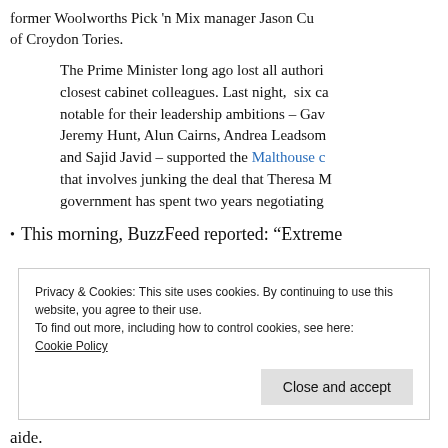former Woolworths Pick 'n Mix manager Jason Cu of Croydon Tories.
The Prime Minister long ago lost all authori closest cabinet colleagues. Last night, six ca notable for their leadership ambitions – Gav Jeremy Hunt, Alun Cairns, Andrea Leadsom and Sajid Javid – supported the Malthouse c that involves junking the deal that Theresa M government has spent two years negotiating
This morning, BuzzFeed reported: “Extreme
Privacy & Cookies: This site uses cookies. By continuing to use this website, you agree to their use.
To find out more, including how to control cookies, see here:
Cookie Policy
Close and accept
aide.